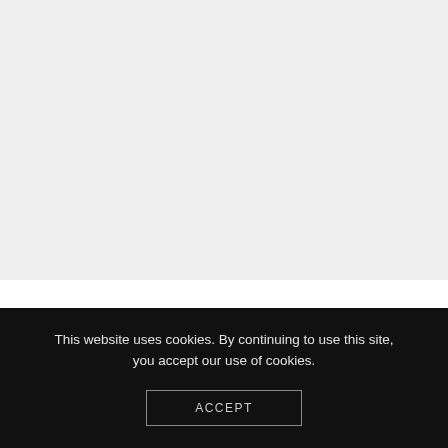[Figure (other): Light grey background area filling the upper portion of the page]
This website uses cookies. By continuing to use this site, you accept our use of cookies.
ACCEPT